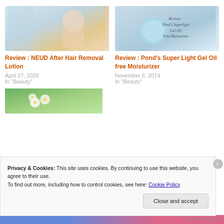[Figure (photo): Woman shaving legs in bathroom]
Review : NEUD After Hair Removal Lotion
April 27, 2020
In "Beauty"
[Figure (photo): Pond's Superlight Gel Oil Free Moisturizer product with review text overlay]
Review : Pond's Super Light Gel Oil free Moisturizer
November 6, 2019
In "Beauty"
[Figure (photo): White flowers on green background]
Privacy & Cookies: This site uses cookies. By continuing to use this website, you agree to their use.
To find out more, including how to control cookies, see here: Cookie Policy
Close and accept